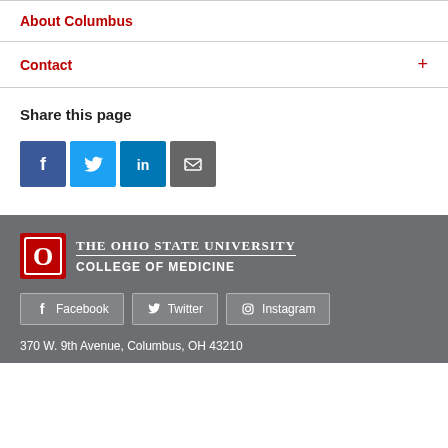About Columbus
Contact
Share this page
[Figure (infographic): Social share buttons: Facebook, Twitter, LinkedIn, Email]
[Figure (logo): The Ohio State University College of Medicine logo with OSU block O]
Facebook  Twitter  Instagram
370 W. 9th Avenue, Columbus, OH 43210